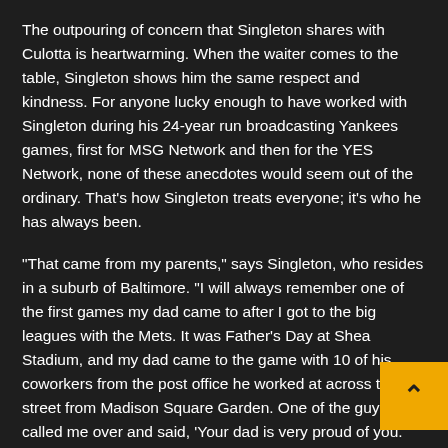The outpouring of concern that Singleton shares with Culotta is heartwarming. When the waiter comes to the table, Singleton shows him the same respect and kindness. For anyone lucky enough to have worked with Singleton during his 24-year run broadcasting Yankees games, first for MSG Network and then for the YES Network, none of these anecdotes would seem out of the ordinary. That's how Singleton treats everyone; it's who he has always been.
“That came from my parents,” says Singleton, who resides in a suburb of Baltimore. “I will always remember one of the first games my dad came to after I got to the big leagues with the Mets. It was Father’s Day at Shea Stadium, and my dad came to the game with 10 of his coworkers from the post office he worked at across the street from Madison Square Garden. One of the guys called me over and said, 'Your dad is very proud of you. But if you turn out to be half the guy he is, you’re going to